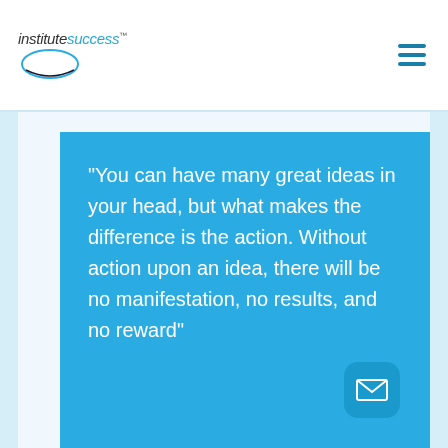institutesuccess™
"You can have many great ideas in your head, but what makes the difference is the action. Without action upon an idea, there will be no manifestation, no results, and no reward"